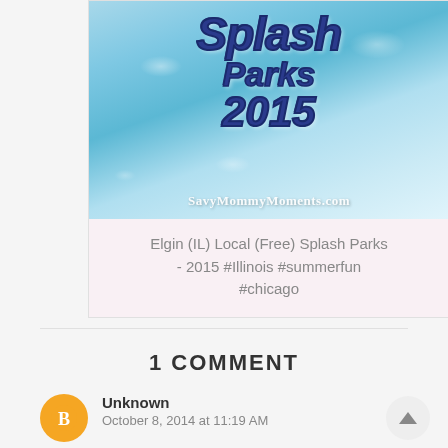[Figure (photo): Blog post card image with water/splash park background and text 'Splash Parks 2015' with watermark 'SavyMommyMoments.com']
Elgin (IL) Local (Free) Splash Parks - 2015 #Illinois #summerfun #chicago
1 COMMENT
Unknown
October 8, 2014 at 11:19 AM